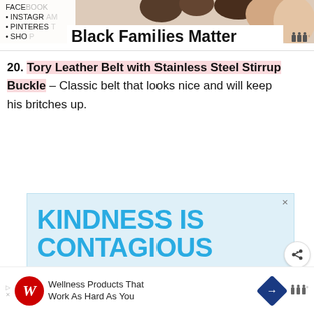[Figure (photo): Partial photo of people, cropped at top of page]
FACEBOOK
INSTAGRAM
PINTEREST
SHOP
Black Families Matter
20. Tory Leather Belt with Stainless Steel Stirrup Buckle – Classic belt that looks nice and will keep his britches up.
[Figure (screenshot): Advertisement showing 'KINDNESS IS CONTAGIOUS PASS IT ON' in blue text on light blue background]
[Figure (screenshot): What's Next widget showing Bathroom Storage article with thumbnail]
[Figure (screenshot): Bottom advertisement for Walgreens – Wellness Products That Work As Hard As You]